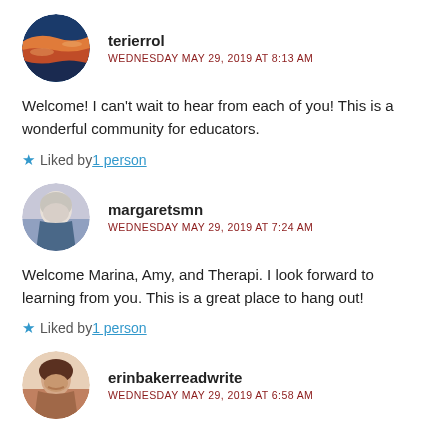[Figure (photo): Circular avatar of terierrol showing a sunset landscape with orange and blue sky]
terierrol
WEDNESDAY MAY 29, 2019 AT 8:13 AM
Welcome! I can't wait to hear from each of you! This is a wonderful community for educators.
Liked by 1 person
[Figure (photo): Circular avatar of margaretsmn showing an elderly woman with gray hair]
margaretsmn
WEDNESDAY MAY 29, 2019 AT 7:24 AM
Welcome Marina, Amy, and Therapi. I look forward to learning from you. This is a great place to hang out!
Liked by 1 person
[Figure (photo): Circular avatar of erinbakerreadwrite showing a woman with dark hair smiling]
erinbakerreadwrite
WEDNESDAY MAY 29, 2019 AT 6:58 AM